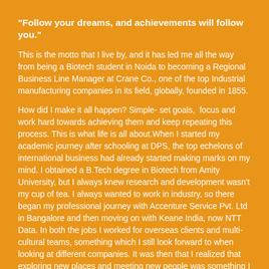"Follow your dreams, and achievements will follow you."
This is the motto that I live by, and it has led me all the way from being a Biotech student in Noida to becoming a Regional Business Line Manager at Crane Co., one of the top Industrial manufacturing companies in its field, globally, founded in 1855.
How did I make it all happen? Simple- set goals,  focus and work hard towards achieving them and keep repeating this process. This is what life is all about.When I started my academic journey after schooling at DPS, the top echelons of international business had already started making marks on my mind. I obtained a B.Tech degree in Biotech from Amity University, but I always knew research and development wasn't my cup of tea. I always wanted to work in industry, so there began my professional journey with Accenture Service Pvt. Ltd in Bangalore and then moving on with Keane India, now NTT Data. In both the jobs I worked for overseas clients and multi-cultural teams, something which I still look forward to when looking at different companies. It was then that I realized that exploring new places and meeting new people was something I really liked.